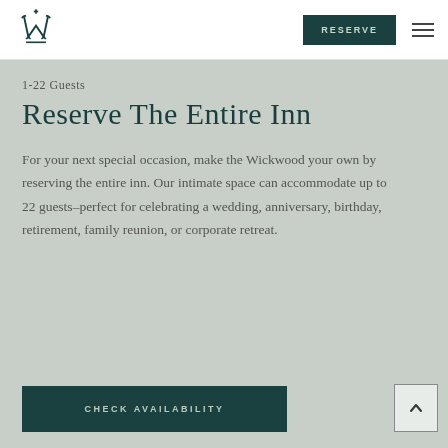[Figure (logo): Wickwood Inn stylized W logo in dark teal]
RESERVE
1-22 Guests
Reserve The Entire Inn
For your next special occasion, make the Wickwood your own by reserving the entire inn. Our intimate space can accommodate up to 22 guests–perfect for celebrating a wedding, anniversary, birthday, retirement, family reunion, or corporate retreat.
CHECK AVAILABILITY